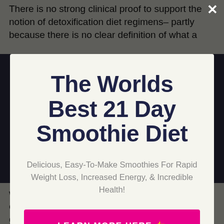There is no strong clinical proof to support the notion of detoxification diet regimens– partly because there is no clear definition of what a
The Worlds Best 21 Day Smoothie Diet
Delicious, Easy-To-Make Smoothies For Rapid Weight Loss, Increased Energy, & Incredible Health!
LEARN MORE HERE 👉
No thanks, I'm not interested!
well promptly No thanks, I'm not interested! complying with the weight-loss diet regimen goes back to